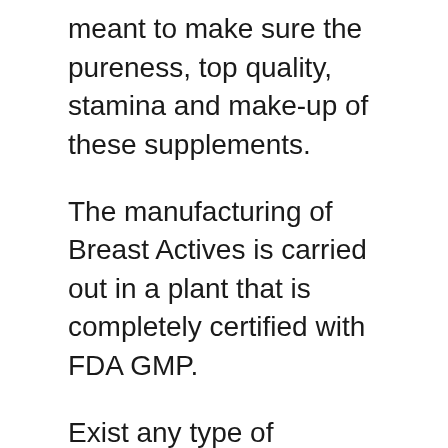meant to make sure the pureness, top quality, stamina and make-up of these supplements.
The manufacturing of Breast Actives is carried out in a plant that is completely certified with FDA GMP.
Exist any type of constraints on its use?
You must not utilize Breast Actives while pregnant or breastfeeding. If you are expectant or nursing an infant, wait until your child surfaces nursing/ or breastfeeding is ended up. Then you can start this therapy.
If you have pre-existing health problems, consult your medical professional prior to